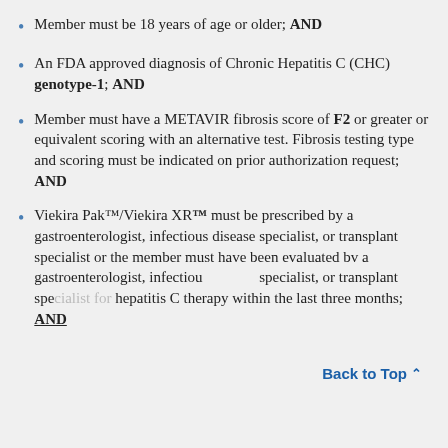Member must be 18 years of age or older; AND
An FDA approved diagnosis of Chronic Hepatitis C (CHC) genotype-1; AND
Member must have a METAVIR fibrosis score of F2 or greater or equivalent scoring with an alternative test. Fibrosis testing type and scoring must be indicated on prior authorization request; AND
Viekira Pak™/Viekira XR™ must be prescribed by a gastroenterologist, infectious disease specialist, or transplant specialist or the member must have been evaluated by a gastroenterologist, infectious disease specialist, or transplant specialist for hepatitis C therapy within the last three months; AND